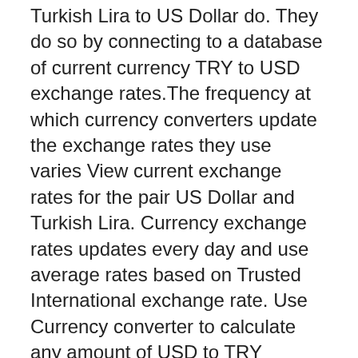Turkish Lira to US Dollar do. They do so by connecting to a database of current currency TRY to USD exchange rates.The frequency at which currency converters update the exchange rates they use varies View current exchange rates for the pair US Dollar and Turkish Lira. Currency exchange rates updates every day and use average rates based on Trusted International exchange rate. Use Currency converter to calculate any amount of USD to TRY exchange rate with compare tables, history chart.
Converter You are currently converting foreign exchange units from Italian lira to United States dollar 1 ITL = 0.00061396396163758 $ Italian lira. ITL United States dollar. 0.00061396396163758 $ ~= 0 $ Conversion base : 1 ITL = 0.00061396396163758 $ Conversion 2001-01-00